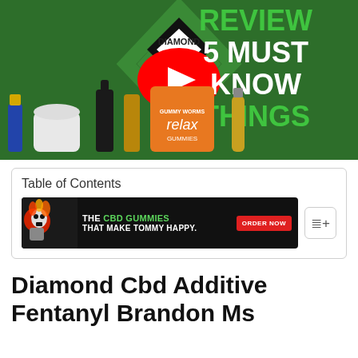[Figure (screenshot): YouTube video thumbnail for Diamond CBD review showing CBD products (oils, creams, gummies) on a green background with text 'REVIEW 5 MUST KNOW THINGS' and a YouTube play button.]
Table of Contents
[Figure (infographic): Advertisement banner: dark background with skull graphic, text 'THE CBD GUMMIES THAT MAKE TOMMY HAPPY.' with 'ORDER NOW' red button.]
Diamond Cbd Additive Fentanyl Brandon Ms